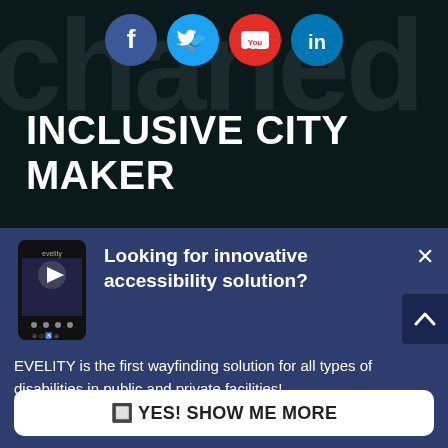[Figure (infographic): Social media icons: Facebook (blue circle), Twitter (light blue circle), YouTube (red circle), LinkedIn (blue circle) arranged horizontally at top]
INCLUSIVE CITY MAKER
[Figure (screenshot): Smartphone showing a video app interface with play button and accessibility symbols below]
Looking for innovative accessibility solution?
EVELITY is the first wayfinding solution for all types of disabilities in public and private facilities!
🔲 YES! SHOW ME MORE